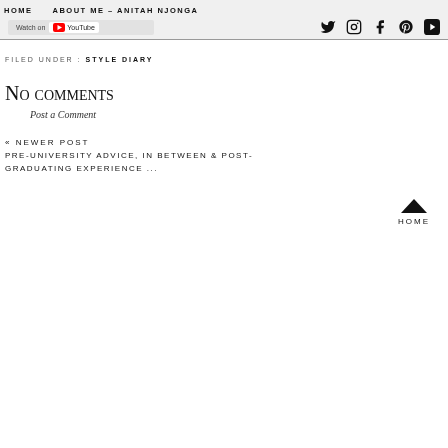HOME   ABOUT ME - ANITAH NJONGA
[Figure (screenshot): Watch on YouTube button (YouTube logo embedded in grey background)]
[Figure (infographic): Social media icons: Twitter, Instagram, Facebook, Pinterest, YouTube]
FILED UNDER : STYLE DIARY
No comments
Post a Comment
« NEWER POST
PRE-UNIVERSITY ADVICE, IN BETWEEN & POST-GRADUATING EXPERIENCE ...
HOME